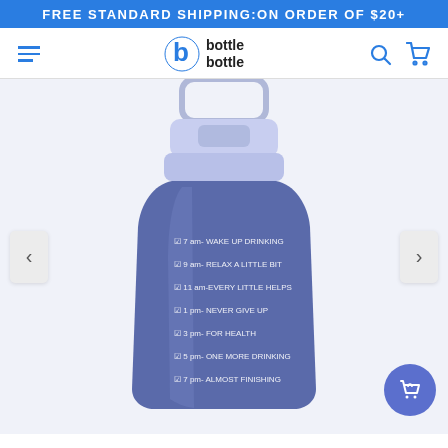FREE STANDARD SHIPPING:ON ORDER OF $20+
[Figure (logo): Bottle Bottle brand logo with blue 'b' icon and text 'bottle bottle']
[Figure (photo): A large blue motivational water bottle with time-based drinking reminders printed on the side: 7am-WAKE UP DRINKING, 9am-RELAX A LITTLE BIT, 11am-EVERY LITTLE HELPS, 1pm-NEVER GIVE UP, 3pm-FOR HEALTH, 5pm-ONE MORE DRINKING, 7pm-ALMOST FINISHING. The bottle has a light blue handle and flip-top lid.]